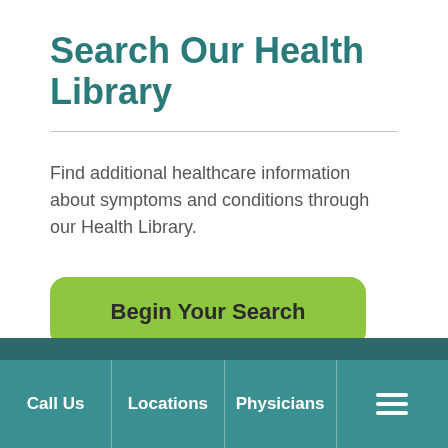Search Our Health Library
Find additional healthcare information about symptoms and conditions through our Health Library.
[Figure (other): Green rounded button labeled 'Begin Your Search']
Call Us | Locations | Physicians | Menu